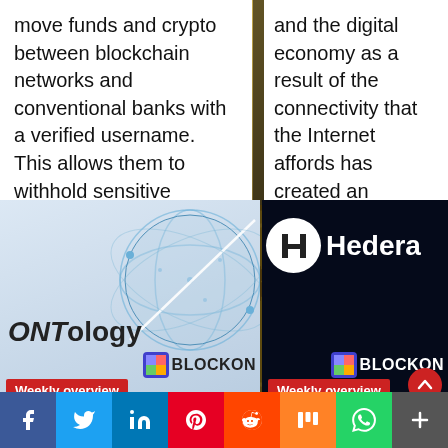move funds and crypto between blockchain networks and conventional banks with a verified username. This allows them to withhold sensitive information...
and the digital economy as a result of the connectivity that the Internet affords has created an entirely new digital realm...
[Figure (photo): ONTology blockchain project card with globe graphic and BLOCKON branding, Weekly overview badge in red]
[Figure (photo): Hedera blockchain project card on dark background with BLOCKON branding, Weekly overview badge in red, scroll-up button]
[Figure (infographic): Social sharing bar with Facebook, Twitter, LinkedIn, Pinterest, Reddit, Mix, WhatsApp, and more buttons]